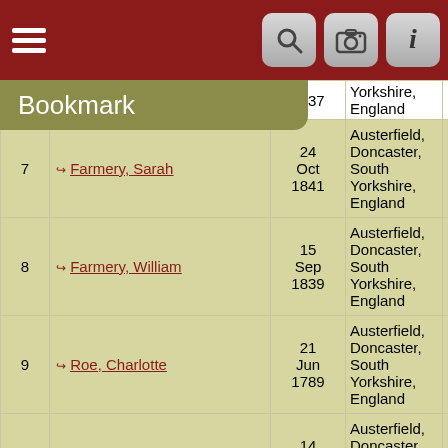Navigation bar with hamburger menu, search, camera, and info icons
Bookmark
| # | Name | Date | Place | ID |
| --- | --- | --- | --- | --- |
|  |  | 1837 | Yorkshire, England |  |
| 7 | Farmery, Sarah | 24 Oct 1841 | Austerfield, Doncaster, South Yorkshire, England | I46919 |
| 8 | Farmery, William | 15 Sep 1839 | Austerfield, Doncaster, South Yorkshire, England | I46723 |
| 9 | Roe, Charlotte | 21 Jun 1789 | Austerfield, Doncaster, South Yorkshire, England | I57543 |
| 10 | Roe, Mary | 14 Aug 1785 | Austerfield, Doncaster, South Yorkshire, England | I57544 |
| 11 | Roe, Sarah | 10 Nov 1782 | Austerfield, Doncaster, South Yorkshire, | I57545 |